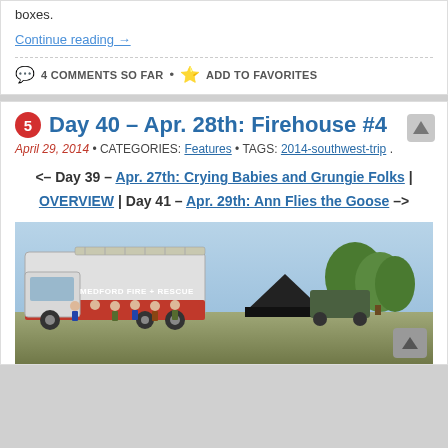boxes.
Continue reading →
4 COMMENTS SO FAR • ADD TO FAVORITES
Day 40 – Apr. 28th: Firehouse #4
April 29, 2014 • CATEGORIES: Features • TAGS: 2014-southwest-trip.
<– Day 39 – Apr. 27th: Crying Babies and Grungie Folks | OVERVIEW | Day 41 – Apr. 29th: Ann Flies the Goose –>
[Figure (photo): Photo of Medford Fire + Rescue truck and firefighters group posed outside firehouse]